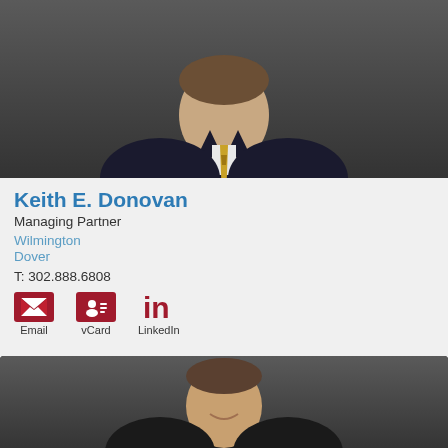[Figure (photo): Professional headshot of Keith E. Donovan, a man in a dark suit with a gold tie, against a dark grey background]
Keith E. Donovan
Managing Partner
Wilmington
Dover
T: 302.888.6808
Email   vCard   LinkedIn
[Figure (photo): Professional headshot of a second person, a man in a dark suit, smiling, against a dark grey background]